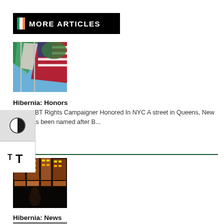MORE ARTICLES
[Figure (photo): Irish and American flags flying against a blue sky with green trees]
Hibernia: Honors
Irish LGBT Rights Campaigner Honored In NYC A street in Queens, New York, has been named after B...
[Figure (photo): Nighttime street scene with illuminated storefronts and a person in foreground]
Hibernia: News
Dublin Second In Europe For Improving Air Quality Dublin has been named the second most improved...
[Figure (photo): Partially visible thumbnail at bottom of page]